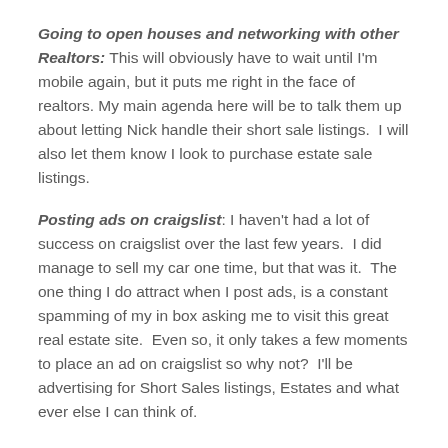Going to open houses and networking with other Realtors: This will obviously have to wait until I'm mobile again, but it puts me right in the face of realtors. My main agenda here will be to talk them up about letting Nick handle their short sale listings.  I will also let them know I look to purchase estate sale listings.
Posting ads on craigslist: I haven't had a lot of success on craigslist over the last few years.  I did manage to sell my car one time, but that was it.  The one thing I do attract when I post ads, is a constant spamming of my in box asking me to visit this great real estate site.  Even so, it only takes a few moments to place an ad on craigslist so why not?  I'll be advertising for Short Sales listings, Estates and what ever else I can think of.
Contact estate asset selling companies: This one actually